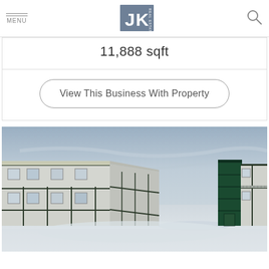MENU | JK Real Estate
11,888 sqft
View This Business With Property
[Figure (photo): Exterior photograph of a two-story motel or apartment building in a U-shape, with snow on the ground, grey sky, dark green and grey facade with external stairways and walkways.]